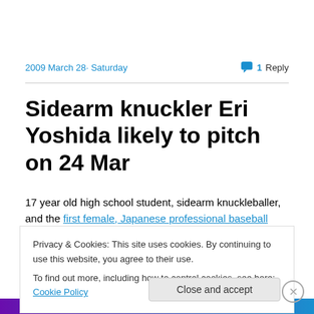2009 March 28 · Saturday    1 Reply
Sidearm knuckler Eri Yoshida likely to pitch on 24 Mar
17 year old high school student, sidearm knuckleballer, and the first female, Japanese professional baseball player
Privacy & Cookies: This site uses cookies. By continuing to use this website, you agree to their use.
To find out more, including how to control cookies, see here: Cookie Policy